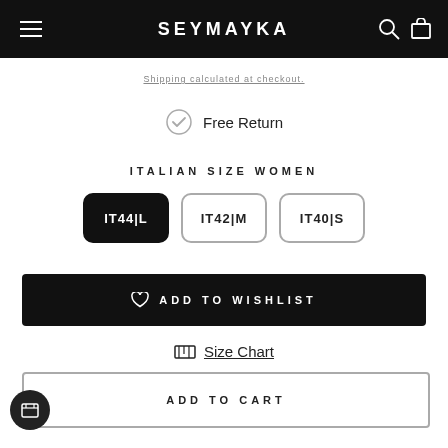SEYMAYKA
Shipping calculated at checkout.
Free Return
ITALIAN SIZE WOMEN
IT44|L (selected)
IT42|M
IT40|S
ADD TO WISHLIST
Size Chart
ADD TO CART